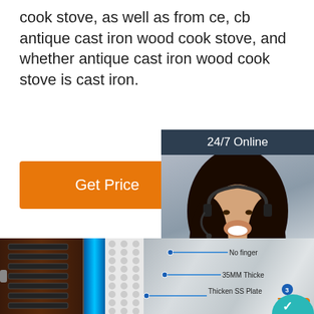cook stove, as well as from ce, cb antique cast iron wood cook stove, and whether antique cast iron wood cook stove is cast iron.
[Figure (screenshot): Orange 'Get Price' button on white background]
[Figure (photo): Woman with headset smiling, with '24/7 Online' dark banner, 'Click here for free chat!' text, and orange 'QUOTATION' button overlay]
[Figure (photo): Product detail image showing cross-section of a refrigerator/wine cooler with annotations: 'No finger', '35MM Thicke', 'Thicken SS Plate 3', and 'TOP' text with teal circular badge at bottom right]